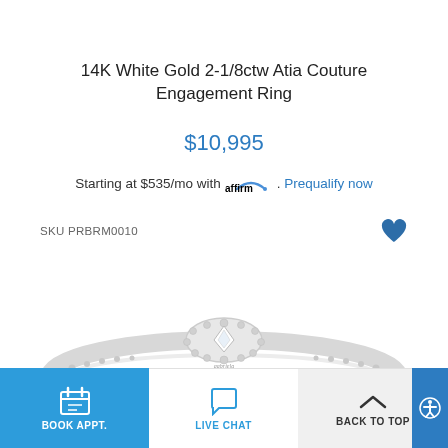14K White Gold 2-1/8ctw Atia Couture Engagement Ring
$10,995
Starting at $535/mo with affirm. Prequalify now
SKU PRBRM0010
[Figure (photo): White gold engagement ring with diamond halo setting, photographed from a side/top angle showing the band and diamond cluster centerpiece]
BOOK APPT.   LIVE CHAT   BACK TO TOP